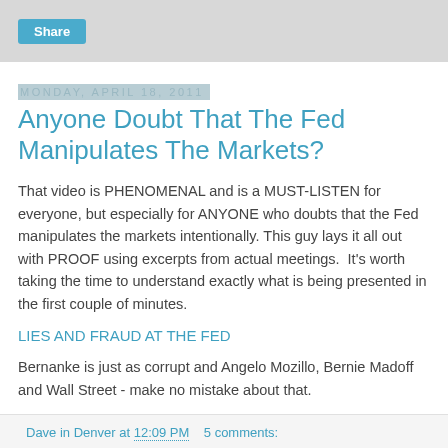Share
Monday, April 18, 2011
Anyone Doubt That The Fed Manipulates The Markets?
That video is PHENOMENAL and is a MUST-LISTEN for everyone, but especially for ANYONE who doubts that the Fed manipulates the markets intentionally. This guy lays it all out with PROOF using excerpts from actual meetings.  It's worth taking the time to understand exactly what is being presented in the first couple of minutes.
LIES AND FRAUD AT THE FED
Bernanke is just as corrupt and Angelo Mozillo, Bernie Madoff and Wall Street - make no mistake about that.
Dave in Denver at 12:09 PM   5 comments: